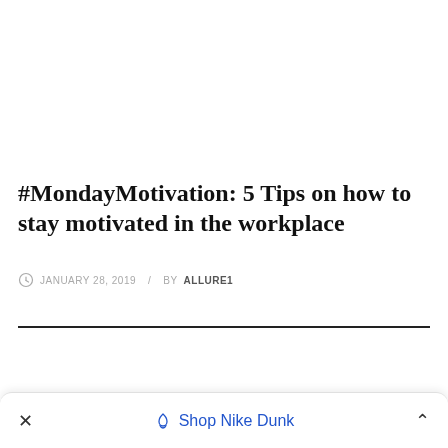#MondayMotivation: 5 Tips on how to stay motivated in the workplace
JANUARY 28, 2019  /  BY ALLURE1
Shop Nike Dunk